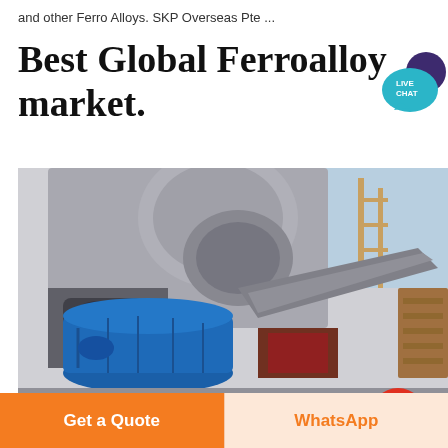and other Ferro Alloys. SKP Overseas Pte ...
Best Global Ferroalloy market.
[Figure (photo): Industrial factory machinery with large blue cylindrical vessel/drum and metallic hopper/conveyor structure in a ferroalloy processing plant]
Get a Quote
WhatsApp